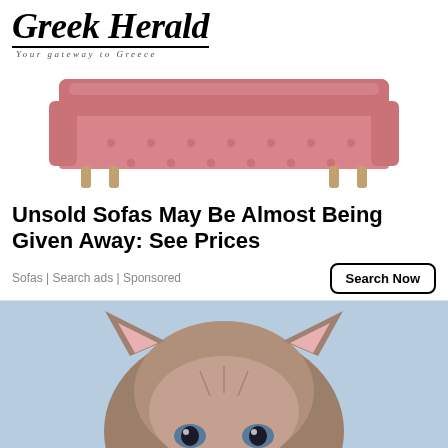Greek Herald — Your gateway to Greece
[Figure (photo): Pink tufted sofa with wooden legs on white background]
Unsold Sofas May Be Almost Being Given Away: See Prices
Sofas | Search ads | Sponsored
[Figure (photo): Close-up of a small fluffy kitten with blue eyes looking up at the camera]